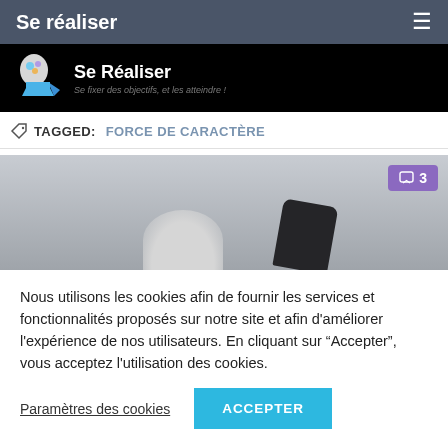Se réaliser
[Figure (logo): Se Réaliser logo with brain/arrow icon and tagline 'Se fixer des objectifs, et les atteindre!']
TAGGED: FORCE DE CARACTÈRE
[Figure (photo): Article image showing hands holding a phone, with a purple comment badge showing '3']
Nous utilisons les cookies afin de fournir les services et fonctionnalités proposés sur notre site et afin d'améliorer l'expérience de nos utilisateurs. En cliquant sur "Accepter", vous acceptez l'utilisation des cookies.
Paramètres des cookies | ACCEPTER